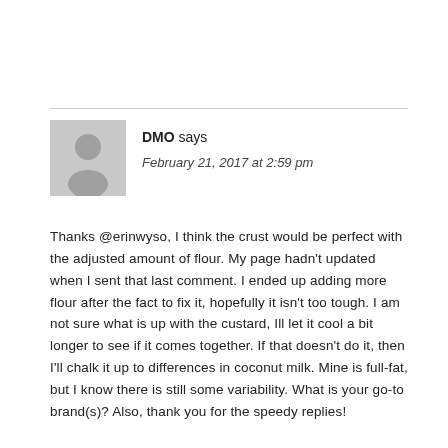DMO says
February 21, 2017 at 2:59 pm
Thanks @erinwyso, I think the crust would be perfect with the adjusted amount of flour. My page hadn't updated when I sent that last comment. I ended up adding more flour after the fact to fix it, hopefully it isn't too tough. I am not sure what is up with the custard, Ill let it cool a bit longer to see if it comes together. If that doesn't do it, then I'll chalk it up to differences in coconut milk. Mine is full-fat, but I know there is still some variability. What is your go-to brand(s)? Also, thank you for the speedy replies!